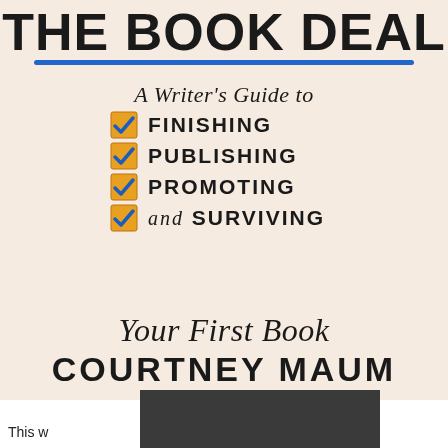[Figure (illustration): Book cover for 'The Book Deal' by Courtney Maum. Cream/beige background. Large bold title 'THE BOOK DEAL' at top with blue underline. Italic subtitle 'A Writer's Guide to' followed by four checklist items with checkbox icons: FINISHING, PUBLISHING, PROMOTING, and SURVIVING. Then 'Your First Book' in italic script. Author name 'COURTNEY MAUM' in large bold caps at bottom. A dark rectangle partially covers the lower portion.]
This w